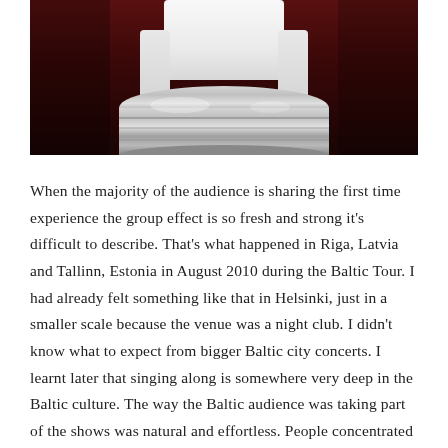[Figure (photo): A person in a white shirt holding or playing a large silver metallic drum-like object against a dark red background]
When the majority of the audience is sharing the first time experience the group effect is so fresh and strong it's difficult to describe. That's what happened in Riga, Latvia and Tallinn, Estonia in August 2010 during the Baltic Tour. I had already felt something like that in Helsinki, just in a smaller scale because the venue was a night club. I didn't know what to expect from bigger Baltic city concerts. I learnt later that singing along is somewhere very deep in the Baltic culture. The way the Baltic audience was taking part of the shows was natural and effortless. People concentrated on the performance and enjoyed, many of them knew the lyrics and sang along. The atmosphere was simply fantastic.